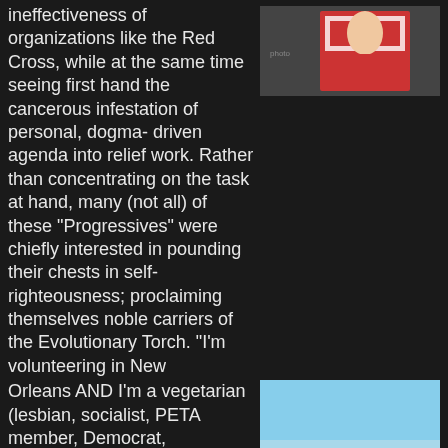ineffectiveness of organizations like the Red Cross, while at the same time seeing first hand the cancerous infestation of personal, dogma- driven agenda into relief work. Rather than concentrating on the task at hand, many (not all) of these "Progressives" were chiefly interested in pounding their chests in self- righteousness; proclaiming themselves noble carriers of the Evolutionary Torch. "I'm volunteering in New Orleans AND I'm a vegetarian (lesbian, socialist, PETA member, Democrat, environmentalist, pot head...) too!" It was repulsive, and a harsh lesson in how factionalism will manipulate any situation to promote dogma and further agenda. The Red Cross is The National Charity, and has exploited our sympathies borne out of tragedies like 9/11 & Katrina.
[Figure (photo): Photo of a person in red clothing near what appears to be equipment or a vehicle, partially visible]
[Figure (photo): Photo of a long straight road with yellow center line stretching into the distance, with green fields on either side and blue sky. In the lower portion, three people are lying down together, smiling at the camera.]
This is not out of humanity, but to turn a profit while in turn offering little tangible help. Don't believe me? Turn off the TV